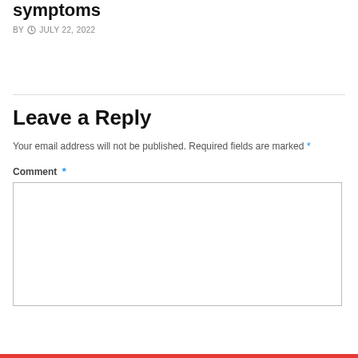symptoms
BY  JULY 22, 2022
Leave a Reply
Your email address will not be published. Required fields are marked *
Comment *